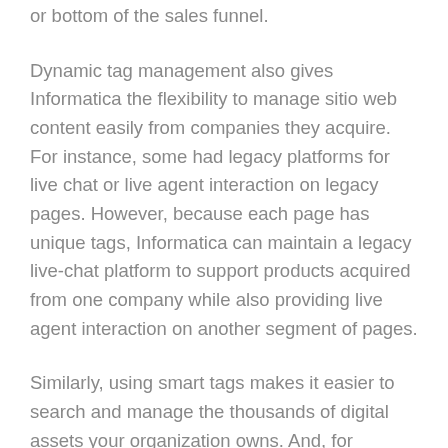or bottom of the sales funnel.
Dynamic tag management also gives Informatica the flexibility to manage sitio web content easily from companies they acquire. For instance, some had legacy platforms for live chat or live agent interaction on legacy pages. However, because each page has unique tags, Informatica can maintain a legacy live-chat platform to support products acquired from one company while also providing live agent interaction on another segment of pages.
Similarly, using smart tags makes it easier to search and manage the thousands of digital assets your organization owns. And, for content creation, an